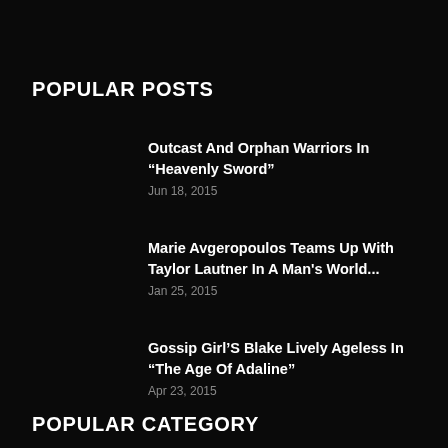POPULAR POSTS
Outcast And Orphan Warriors In “Heavenly Sword”
Jun 18, 2015
Marie Avgeropoulos Teams Up With Taylor Lautner In A Man's World...
Jan 25, 2015
Gossip Girl'S Blake Lively Ageless In “The Age Of Adaline”
Apr 23, 2015
POPULAR CATEGORY